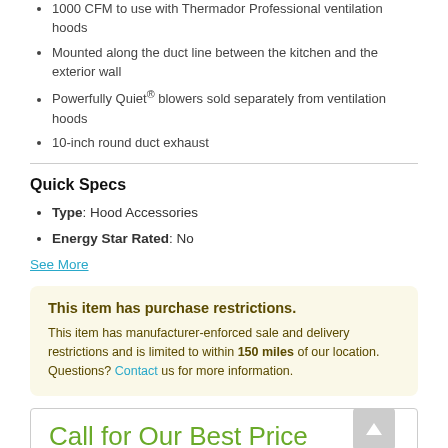1000 CFM to use with Thermador Professional ventilation hoods
Mounted along the duct line between the kitchen and the exterior wall
Powerfully Quiet® blowers sold separately from ventilation hoods
10-inch round duct exhaust
Quick Specs
Type: Hood Accessories
Energy Star Rated: No
See More
This item has purchase restrictions. This item has manufacturer-enforced sale and delivery restrictions and is limited to within 150 miles of our location. Questions? Contact us for more information.
Call for Our Best Price